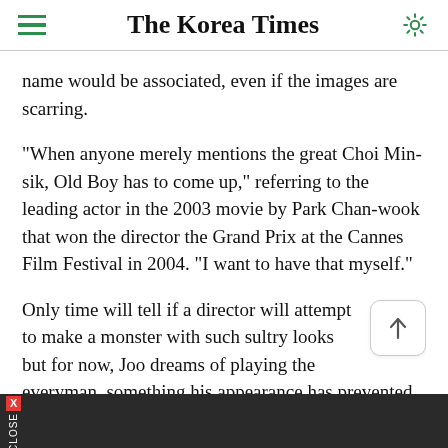The Korea Times
name would be associated, even if the images are scarring.
"When anyone merely mentions the great Choi Min-sik, Old Boy has to come up," referring to the leading actor in the 2003 movie by Park Chan-wook that won the director the Grand Prix at the Cannes Film Festival in 2004. "I want to have that myself."
Only time will tell if a director will attempt to make a monster with such sultry looks but for now, Joo dreams of playing the everyman, something his appearance has prevented him from doing.
CLOSE